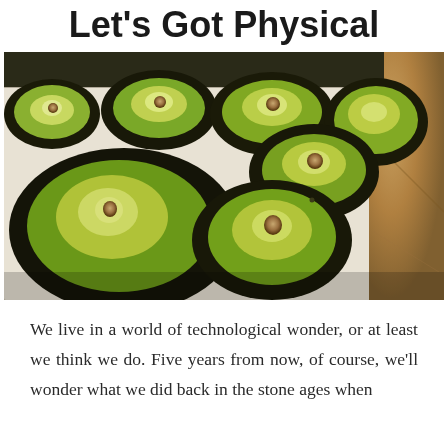Let's Got Physical
[Figure (photo): Several halved avocados with pits removed, placed cut-side up on white parchment paper on a baking tray, with a granite countertop visible in the background.]
We live in a world of technological wonder, or at least we think we do. Five years from now, of course, we'll wonder what we did back in the stone ages when we didn't have this, of course, we won't